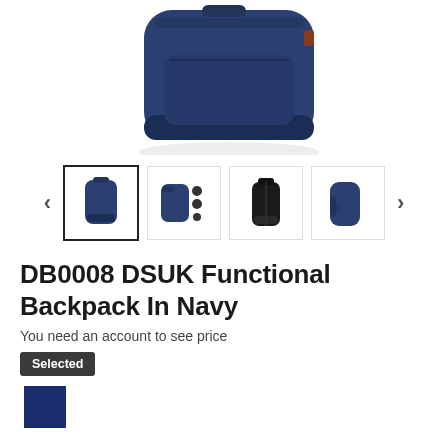[Figure (photo): Top portion of a navy blue backpack product photo, showing the top and upper body of the backpack against a white background.]
[Figure (photo): Thumbnail carousel showing 4 product images of the navy backpack from different angles, with left and right navigation arrows. The first thumbnail is selected with a border.]
DB0008 DSUK Functional Backpack In Navy
You need an account to see price
Selected
[Figure (other): Navy blue color swatch square indicating the selected color option.]